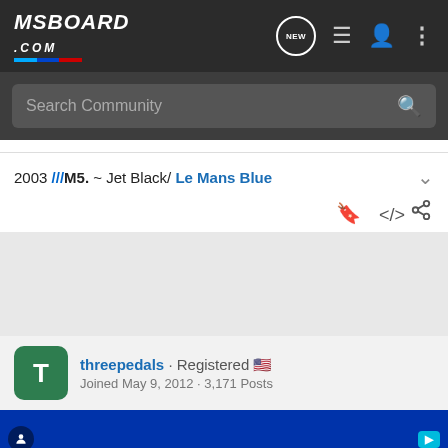MSBOARD.COM — navigation bar with logo, NEW button, list icon, user icon, more icon
Search Community
2003 ///M5. ~ Jet Black/ Le Mans Blue
threepedals · Registered
Joined May 9, 2012 · 3,171 Posts
#9 · Jan